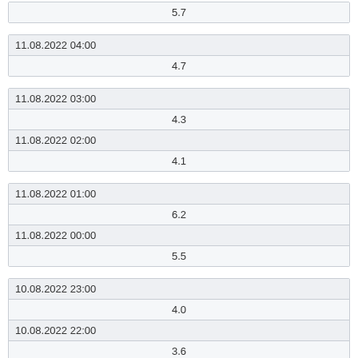| 5.7 |
| 11.08.2022 04:00 |
| 4.7 |
| 11.08.2022 03:00 |
| 4.3 |
| 11.08.2022 02:00 |
| 4.1 |
| 11.08.2022 01:00 |
| 6.2 |
| 11.08.2022 00:00 |
| 5.5 |
| 10.08.2022 23:00 |
| 4.0 |
| 10.08.2022 22:00 |
| 3.6 |